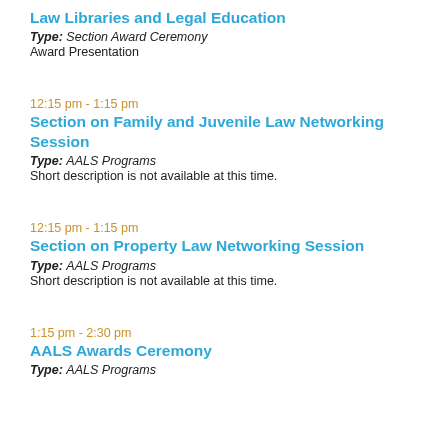Law Libraries and Legal Education
Type: Section Award Ceremony
Award Presentation
12:15 pm - 1:15 pm
Section on Family and Juvenile Law Networking Session
Type: AALS Programs
Short description is not available at this time.
12:15 pm - 1:15 pm
Section on Property Law Networking Session
Type: AALS Programs
Short description is not available at this time.
1:15 pm - 2:30 pm
AALS Awards Ceremony
Type: AALS Programs